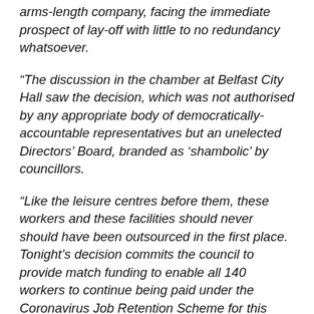arms-length company, facing the immediate prospect of lay-off with little to no redundancy whatsoever.
“The discussion in the chamber at Belfast City Hall saw the decision, which was not authorised by any appropriate body of democratically-accountable representatives but an unelected Directors’ Board, branded as ‘shambolic’ by councillors.
“Like the leisure centres before them, these workers and these facilities should never should have been outsourced in the first place. Tonight’s decision commits the council to provide match funding to enable all 140 workers to continue being paid under the Coronavirus Job Retention Scheme for this month and then under the job support scheme to the end of the current tax year [next March].
“Unite, who represents these workers, escalated their